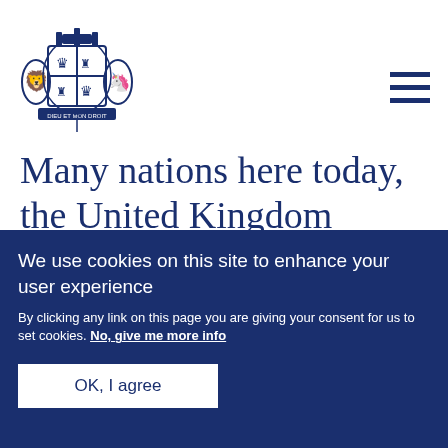[Figure (logo): UK Government Royal Coat of Arms logo in dark blue]
Many nations here today, the United Kingdom among them, owe you a great debt of gratitude for your fortitude and resistance.
We use cookies on this site to enhance your user experience
By clicking any link on this page you are giving your consent for us to set cookies. No, give me more info
OK, I agree